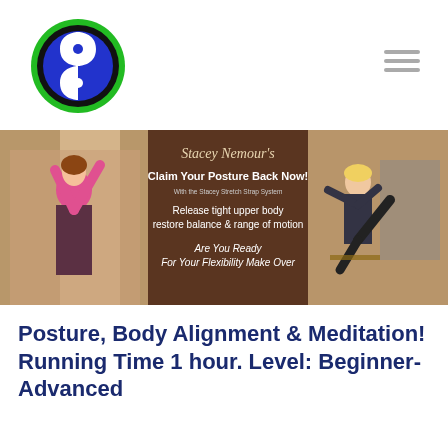[Figure (logo): Circular logo with green outer ring, black inner ring, blue center with white yin-yang style symbol]
[Figure (photo): Banner image showing Stacey Nemour's fitness/stretch program. Left side: woman in pink top with arms up. Center: brown background with text 'Stacey Nemour's Claim Your Posture Back Now! With the Stacey Stretch Strap System. Release tight upper body restore balance & range of motion. Are You Ready For Your Flexibility Make Over?'. Right side: woman stretching with leg raised near a chair by a fireplace.]
Posture, Body Alignment & Meditation! Running Time 1 hour. Level: Beginner-Advanced